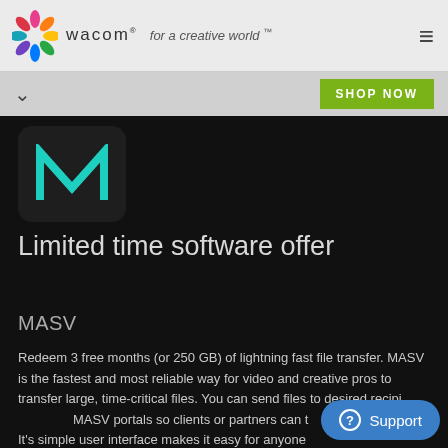wacom · for a creative world™
[Figure (logo): Wacom logo with colorful flower/star icon and text 'wacom' and 'for a creative world™']
[Figure (screenshot): MASV app icon — dark rounded square with teal M-shape lettermark]
Limited time software offer
MASV
Redeem 3 free months (or 250 GB) of lightning fast file transfer. MASV is the fastest and most reliable way for video and creative pros to transfer large, time-critical files. You can send files to desired recipients or create MASV portals so clients or partners can transfer files to you. It's simple user interface makes it easy for anyone